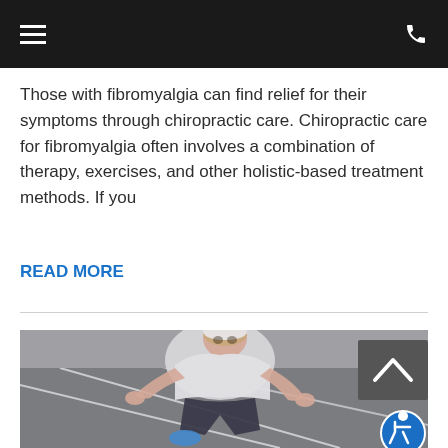[Figure (screenshot): Black navigation header bar with hamburger menu icon on left and phone icon on right]
Those with fibromyalgia can find relief for their symptoms through chiropractic care. Chiropractic care for fibromyalgia often involves a combination of therapy, exercises, and other holistic-based treatment methods. If you
READ MORE
[Figure (photo): Female athlete in starting position on a running track, wearing white top and dark leggings, looking forward intensely. A back-to-top button (dark grey with upward chevron) is overlaid in the upper right, and an accessibility icon (blue circle with wheelchair symbol) is in the lower right corner.]